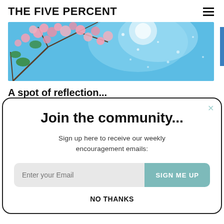THE FIVE PERCENT
[Figure (photo): Cherry blossom tree branches with pink flowers against a bright blue sky with sunlight.]
A spot of reflection...
Join the community...
Sign up here to receive our weekly encouragement emails:
SIGN ME UP
NO THANKS